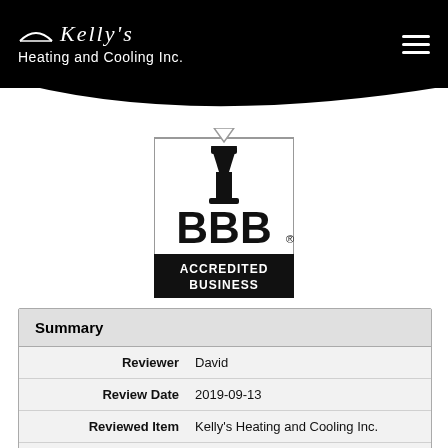Kelly's Heating and Cooling Inc.
[Figure (logo): BBB Accredited Business logo with torch icon and bold 'BBB.' text, black and white]
| Field | Value |
| --- | --- |
| Reviewer | David |
| Review Date | 2019-09-13 |
| Reviewed Item | Kelly's Heating and Cooling Inc. |
| Author Rating | ★★★★★ |